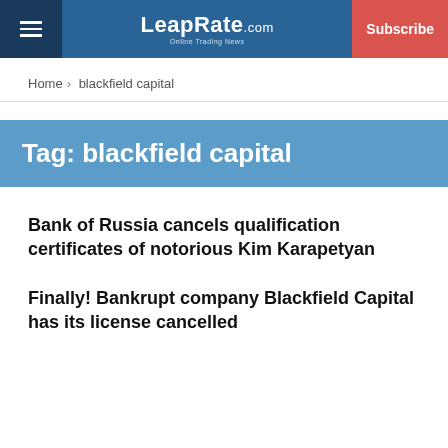LeapRate.com | Subscribe
Home › blackfield capital
Tag: blackfield capital
Bank of Russia cancels qualification certificates of notorious Kim Karapetyan
Finally! Bankrupt company Blackfield Capital has its license cancelled